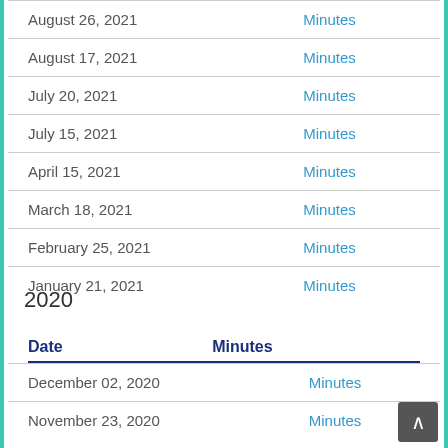| Date | Minutes |
| --- | --- |
| August 26, 2021 | Minutes |
| August 17, 2021 | Minutes |
| July 20, 2021 | Minutes |
| July 15, 2021 | Minutes |
| April 15, 2021 | Minutes |
| March 18, 2021 | Minutes |
| February 25, 2021 | Minutes |
| January 21, 2021 | Minutes |
2020
| Date | Minutes |
| --- | --- |
| December 02, 2020 | Minutes |
| November 23, 2020 | Minutes |